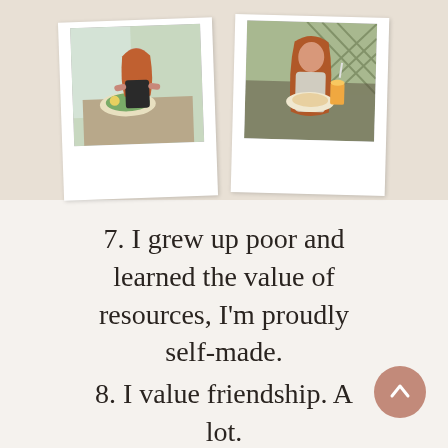[Figure (photo): Two polaroid-style photos side by side of a young woman with long red/auburn hair. Left photo shows her sitting at a table with food/salad. Right photo shows her holding a plate of food outdoors.]
7. I grew up poor and learned the value of resources, I'm proudly self-made.
8. I value friendship. A lot.
9. I could live on olive